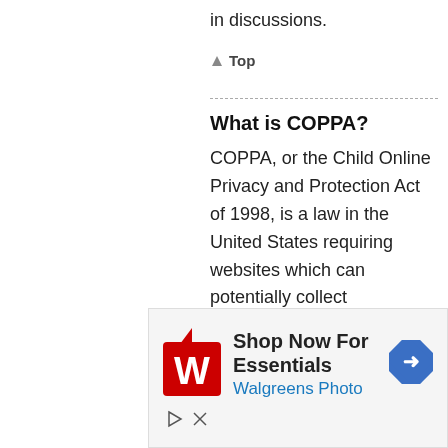in discussions.
▲ Top
What is COPPA?
COPPA, or the Child Online Privacy and Protection Act of 1998, is a law in the United States requiring websites which can potentially collect information from minors under the age of 13 to have written parental consent or some other method of legal guardian
[Figure (other): Walgreens Photo advertisement banner: 'Shop Now For Essentials' with Walgreens Photo logo (red W) and navigation arrow icon]